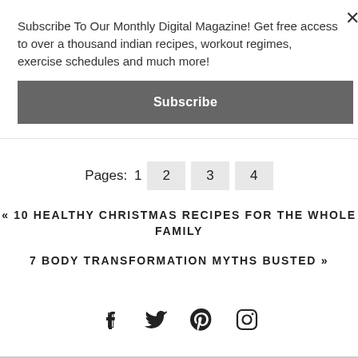Subscribe To Our Monthly Digital Magazine! Get free access to over a thousand indian recipes, workout regimes, exercise schedules and much more!
Subscribe
Pages: 1  2  3  4
« 10 HEALTHY CHRISTMAS RECIPES FOR THE WHOLE FAMILY
7 BODY TRANSFORMATION MYTHS BUSTED »
[Figure (other): Social media icons: Facebook, Twitter, Pinterest, Instagram]